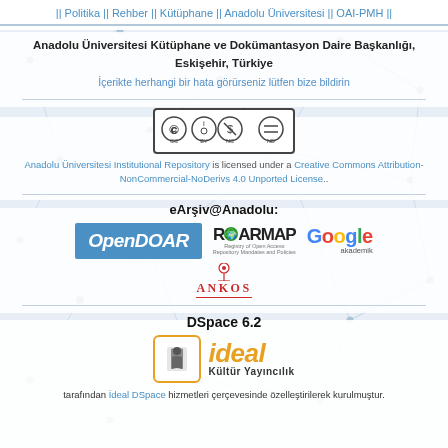|| Politika || Rehber || Kütüphane || Anadolu Üniversitesi || OAI-PMH ||
Anadolu Üniversitesi Kütüphane ve Dokümantasyon Daire Başkanlığı, Eskişehir, Türkiye
İçerikte herhangi bir hata görürseniz lütfen bize bildirin
[Figure (logo): Creative Commons BY-NC-ND license badge]
Anadolu Üniversitesi Institutional Repository is licensed under a Creative Commons Attribution-NonCommercial-NoDerivs 4.0 Unported License..
eArşiv@Anadolu:
[Figure (logo): OpenDOAR logo - blue background with white italic text]
[Figure (logo): ROARMAP logo - Registry of Open Access Repository Mandates and Policies]
[Figure (logo): Google Akademik logo]
[Figure (logo): ANKOS logo]
DSpace 6.2
[Figure (logo): İdeal Kültür Yayıncılık logo with orange border icon and orange italic brand name]
tarafından İdeal DSpace hizmetleri çerçevesinde özelleştirilerek kurulmuştur.